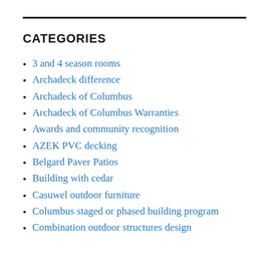CATEGORIES
3 and 4 season rooms
Archadeck difference
Archadeck of Columbus
Archadeck of Columbus Warranties
Awards and community recognition
AZEK PVC decking
Belgard Paver Patios
Building with cedar
Casuwel outdoor furniture
Columbus staged or phased building program
Combination outdoor structures design